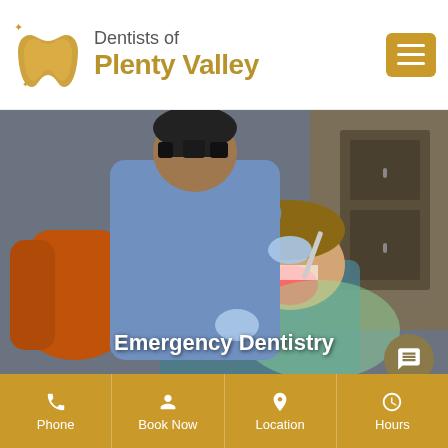[Figure (logo): Dentists of Plenty Valley logo with gold tooth icon and sparkles]
Dentists of Plenty Valley
[Figure (photo): A dentist in blue shirt and surgical gloves performing a dental procedure on a patient reclined in a dental chair with an orange headrest, patient wearing a teal dental bib]
Emergency Dentistry
Phone  Book Now  Location  Hours